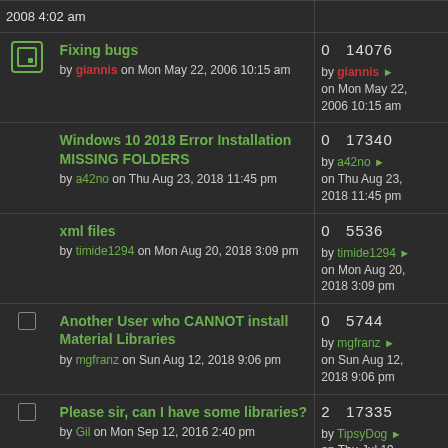2008 4:02 am
Fixing bugs by giannis on Mon May 22, 2006 10:15 am | 0  14076 | by giannis on Mon May 22, 2006 10:15 am
Windows 10 2018 Error Installation MISSING FOLDERS by a42no on Thu Aug 23, 2018 11:45 pm | 0  17340 | by a42no on Thu Aug 23, 2018 11:45 pm
xml files by timide1294 on Mon Aug 20, 2018 3:09 pm | 0  5536 | by timide1294 on Mon Aug 20, 2018 3:09 pm
Another User who CANNOT install Material Libraries by mgfranz on Sun Aug 12, 2018 9:06 pm | 0  5744 | by mgfranz on Sun Aug 12, 2018 9:06 pm
Please sir, can I have some libraries? by Gil on Mon Sep 12, 2016 2:40 pm | 2  17335 | by TipsyDog on Thu Jul 19, 2018 7:39 am
OS Sierra...